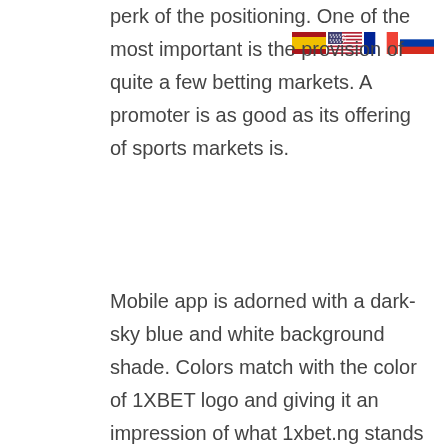perk of the positioning. One of the most important is the provision of quite a few betting markets. A promoter is as good as its offering of sports markets is.
[Figure (illustration): Four country flag icons in a row: Spain, United States, France, Russia]
Mobile app is adorned with a dark-sky blue and white background shade. Colors match with the color of 1XBET logo and giving it an impression of what 1xbet.ng stands for. The system generates consumer ID quantity once the customers register on the app, before signing-in. Features are listed and detailed on the sidebar that pops up whenever the menu button on the left-top of your phone display screen is tapped. On the highest part of the sidebar is your profile ID picture displayed with the current quantity in your account. 1XBET app is